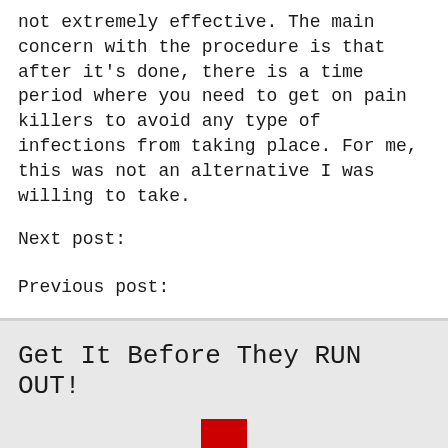not extremely effective. The main concern with the procedure is that after it's done, there is a time period where you need to get on pain killers to avoid any type of infections from taking place. For me, this was not an alternative I was willing to take.
Next post:
Previous post:
Get It Before They RUN OUT!
[Figure (illustration): Red downward-pointing arrow icon, partially visible at the bottom of the page.]